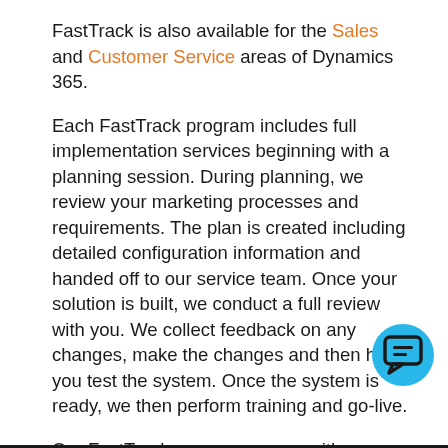FastTrack is also available for the Sales and Customer Service areas of Dynamics 365.
Each FastTrack program includes full implementation services beginning with a planning session. During planning, we review your marketing processes and requirements. The plan is created including detailed configuration information and handed off to our service team. Once your solution is built, we conduct a full review with you. We collect feedback on any changes, make the changes and then have you test the system. Once the system is ready, we then perform training and go-live.
Our FastTrack program comes with a complete pre-configured template for marketing. The template is built from over 15 years experience implementing Dynamics CRM/365. We realized long ago that most